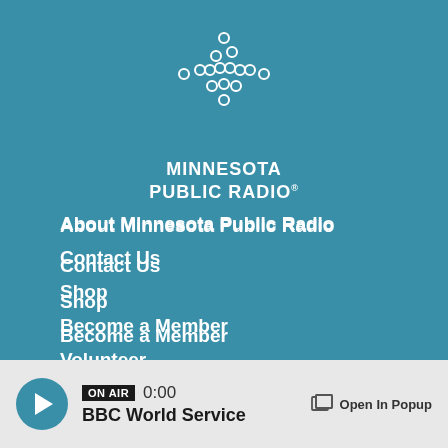[Figure (logo): Minnesota Public Radio logo — dot pattern forming a cross/star shape with white circles, followed by the text MINNESOTA PUBLIC RADIO in white bold uppercase letters]
About Minnesota Public Radio
Contact Us
Shop
Become a Member
Volunteer
Fundraising Credentials
Terms of use
ON AIR  0:00  BBC World Service  Open In Popup